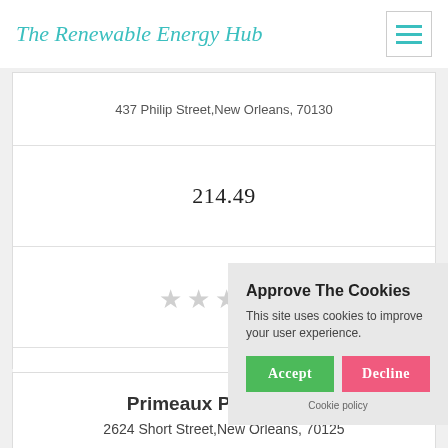The Renewable Energy Hub
437 Philip Street,New Orleans, 70130
214.49
[Figure (other): Five empty star rating icons (unrated)]
[Figure (other): Empty checkbox square]
Get a Quote
Approve The Cookies
This site uses cookies to improve your user experience.
Accept | Decline
Cookie policy
Primeaux Power, LLC
2624 Short Street,New Orleans, 70125